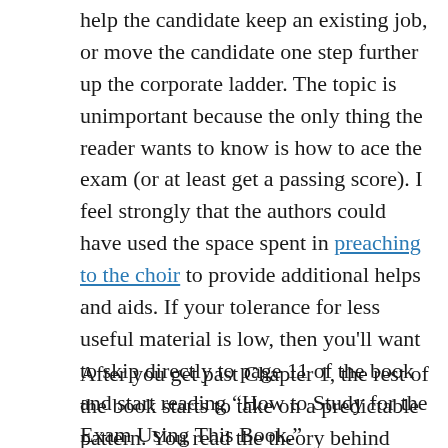help the candidate keep an existing job, or move the candidate one step further up the corporate ladder. The topic is unimportant because the only thing the reader wants to know is how to ace the exam (or at least get a passing score). I feel strongly that the authors could have used the space spent in preaching to the choir to provide additional helps and aids. If your tolerance for less useful material is low, then you'll want to skip directly to page 11 of the book and start reading “How to Study for the Exam Using This Book.”
After you get past Chapter 1, the rest of the book starts to take on a predictable pattern. You read the theory behind each of the topics